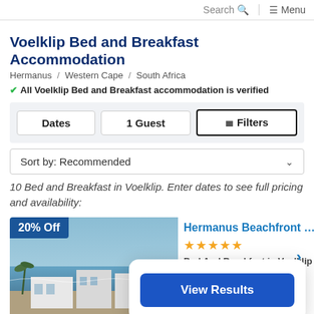Search  Menu
Voelklip Bed and Breakfast Accommodation
Hermanus / Western Cape / South Africa
✔ All Voelklip Bed and Breakfast accommodation is verified
Dates  1 Guest  ☰ Filters
Sort by: Recommended
10 Bed and Breakfast in Voelklip. Enter dates to see full pricing and availability:
[Figure (photo): Beachfront lodging exterior with ocean view, showing white modern buildings and blue ocean in background. Has a 20% Off badge overlay.]
Hermanus Beachfront Lo...
★★★★★
Bed And Breakfast in Voelklip
FROM $238 per night
View Results